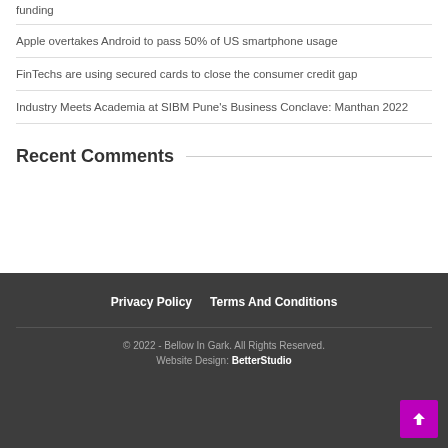funding
Apple overtakes Android to pass 50% of US smartphone usage
FinTechs are using secured cards to close the consumer credit gap
Industry Meets Academia at SIBM Pune's Business Conclave: Manthan 2022
Recent Comments
Privacy Policy   Terms And Conditions
© 2022 - Bellow In Gark. All Rights Reserved.
Website Design: BetterStudio